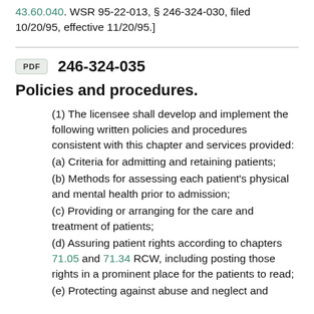[Statutory Authority: Chapter 71.12 RCW and RCW 43.60.040. WSR 95-22-013, § 246-324-030, filed 10/20/95, effective 11/20/95.]
246-324-035
Policies and procedures.
(1) The licensee shall develop and implement the following written policies and procedures consistent with this chapter and services provided:
(a) Criteria for admitting and retaining patients;
(b) Methods for assessing each patient's physical and mental health prior to admission;
(c) Providing or arranging for the care and treatment of patients;
(d) Assuring patient rights according to chapters 71.05 and 71.34 RCW, including posting those rights in a prominent place for the patients to read;
(e) Protecting against abuse and neglect and